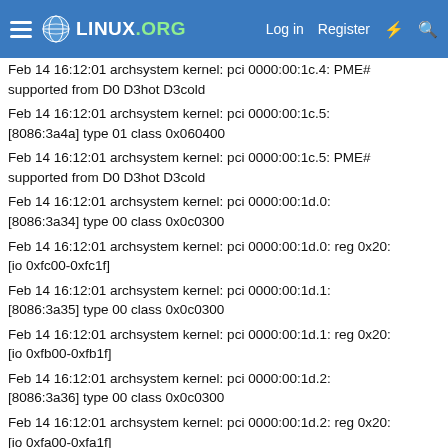Linux.org navigation bar with hamburger menu, logo, Log in, Register, and search icons
Feb 14 16:12:01 archsystem kernel: pci 0000:00:1c.4: PME# supported from D0 D3hot D3cold
Feb 14 16:12:01 archsystem kernel: pci 0000:00:1c.5: [8086:3a4a] type 01 class 0x060400
Feb 14 16:12:01 archsystem kernel: pci 0000:00:1c.5: PME# supported from D0 D3hot D3cold
Feb 14 16:12:01 archsystem kernel: pci 0000:00:1d.0: [8086:3a34] type 00 class 0x0c0300
Feb 14 16:12:01 archsystem kernel: pci 0000:00:1d.0: reg 0x20: [io 0xfc00-0xfc1f]
Feb 14 16:12:01 archsystem kernel: pci 0000:00:1d.1: [8086:3a35] type 00 class 0x0c0300
Feb 14 16:12:01 archsystem kernel: pci 0000:00:1d.1: reg 0x20: [io 0xfb00-0xfb1f]
Feb 14 16:12:01 archsystem kernel: pci 0000:00:1d.2: [8086:3a36] type 00 class 0x0c0300
Feb 14 16:12:01 archsystem kernel: pci 0000:00:1d.2: reg 0x20: [io 0xfa00-0xfa1f]
Feb 14 16:12:01 archsystem kernel: pci 0000:00:1d.7: [8086:3a3a] type 00 class 0x0c0320